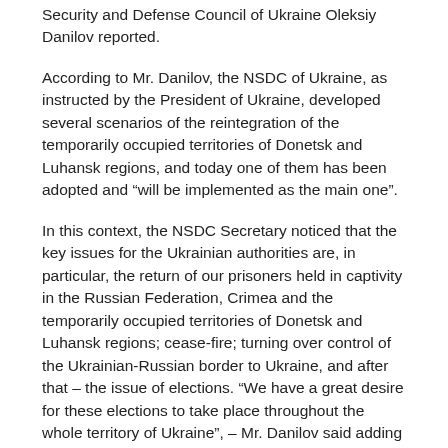Security and Defense Council of Ukraine Oleksiy Danilov reported.
According to Mr. Danilov, the NSDC of Ukraine, as instructed by the President of Ukraine, developed several scenarios of the reintegration of the temporarily occupied territories of Donetsk and Luhansk regions, and today one of them has been adopted and “will be implemented as the main one”.
In this context, the NSDC Secretary noticed that the key issues for the Ukrainian authorities are, in particular, the return of our prisoners held in captivity in the Russian Federation, Crimea and the temporarily occupied territories of Donetsk and Luhansk regions; cease-fire; turning over control of the Ukrainian-Russian border to Ukraine, and after that – the issue of elections. “We have a great desire for these elections to take place throughout the whole territory of Ukraine”, – Mr. Danilov said adding that: “I would like them to take place in the Crimea as well, but unfortunately it is not possible yet”.
“But we do not remove the issue of Crimea from the agenda. This issue is no less crucial for us, – he underscored. – We will defend our land, the land that belongs to Ukraine, we will defend our